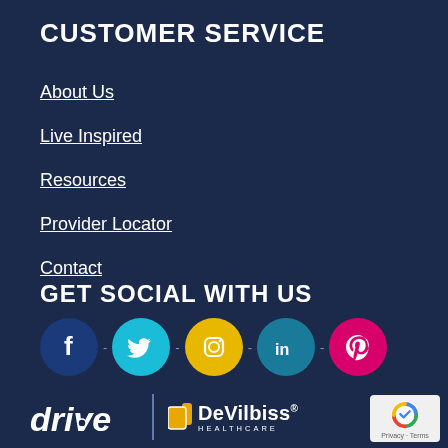CUSTOMER SERVICE
About Us
Live Inspired
Resources
Provider Locator
Contact
GET SOCIAL WITH US
[Figure (infographic): Row of 5 social media icons: Facebook (dark blue circle), Twitter (cyan circle), Instagram (yellow/gold circle), LinkedIn (teal circle), Pinterest (pink/magenta circle), separated by dashes]
[Figure (logo): Drive Medical and DeVilbiss Healthcare logos with reCAPTCHA badge]